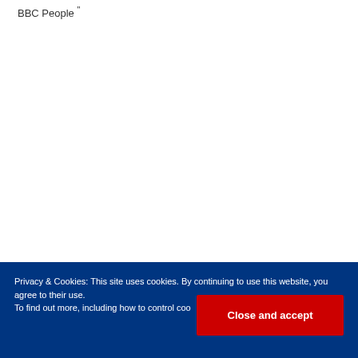BBC People "
Privacy & Cookies: This site uses cookies. By continuing to use this website, you agree to their use.
To find out more, including how to control cookies, see here: Cookie Policy
Close and accept